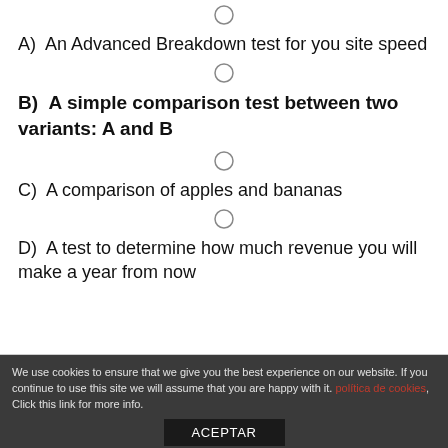A)  An Advanced Breakdown test for you site speed
B)  A simple comparison test between two variants: A and B
C)  A comparison of apples and bananas
D)  A test to determine how much revenue you will make a year from now
We use cookies to ensure that we give you the best experience on our website. If you continue to use this site we will assume that you are happy with it. política de cookies, Click this link for more info.